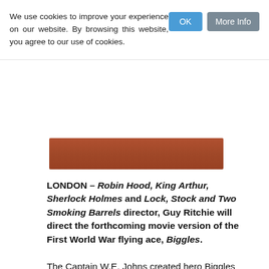We use cookies to improve your experience on our website. By browsing this website, you agree to our use of cookies.
[Figure (photo): Partial image showing a person in reddish/brown tones, cropped at the top]
LONDON – Robin Hood, King Arthur, Sherlock Holmes and Lock, Stock and Two Smoking Barrels director, Guy Ritchie will direct the forthcoming movie version of the First World War flying ace, Biggles.
The Captain W.E. Johns created hero Biggles has been a young boy's fantasy figure for years, though he has recently fallen out of favor with the rise superhero movies and toy franchises. Ritchie spoke